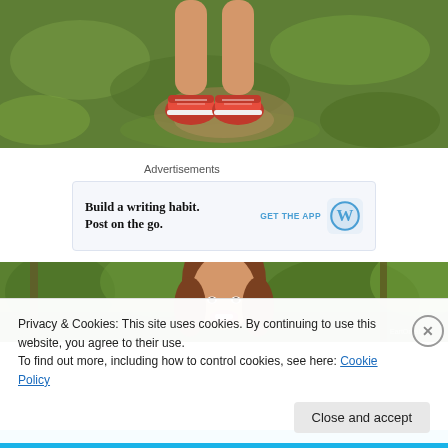[Figure (photo): Photo of person's legs and red sneakers standing on grass]
Advertisements
[Figure (screenshot): WordPress advertisement banner: 'Build a writing habit. Post on the go.' with GET THE APP button and WordPress logo]
[Figure (photo): Photo of smiling woman with brown hair outdoors in green wooded area]
Privacy & Cookies: This site uses cookies. By continuing to use this website, you agree to their use.
To find out more, including how to control cookies, see here: Cookie Policy
Close and accept